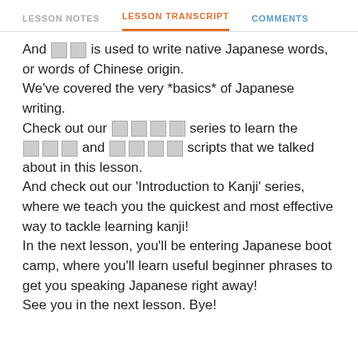LESSON NOTES | LESSON TRANSCRIPT | COMMENTS
And □□ is used to write native Japanese words, or words of Chinese origin.
We've covered the very *basics* of Japanese writing.
Check out our □□□□ series to learn the □□□ and □□□ scripts that we talked about in this lesson.
And check out our 'Introduction to Kanji' series, where we teach you the quickest and most effective way to tackle learning kanji!
In the next lesson, you'll be entering Japanese boot camp, where you'll learn useful beginner phrases to get you speaking Japanese right away!
See you in the next lesson. Bye!